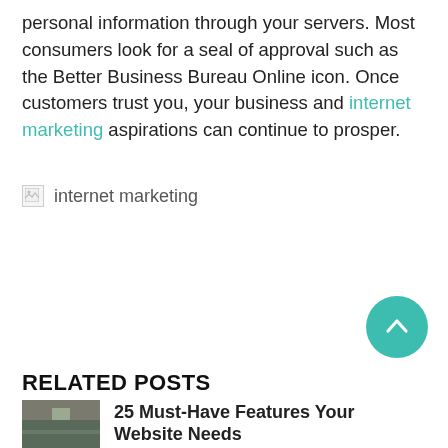personal information through your servers. Most consumers look for a seal of approval such as the Better Business Bureau Online icon. Once customers trust you, your business and internet marketing aspirations can continue to prosper.
[Figure (other): Broken image placeholder with alt text 'internet marketing']
RELATED POSTS
25 Must-Have Features Your Website Needs